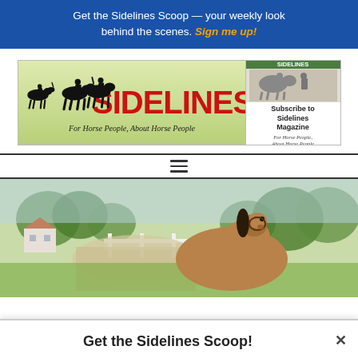Get the Sidelines Scoop — your weekly look behind the scenes. Sign me up!
[Figure (logo): Sidelines Magazine logo with horse and rider silhouettes. Text reads 'SIDELINES For Horse People, About Horse People'. Alongside a Subscribe to Sidelines Magazine box.]
[Figure (photo): A brown horse lying down on a farm with a white fence, green fields and trees in the background.]
Get the Sidelines Scoop!